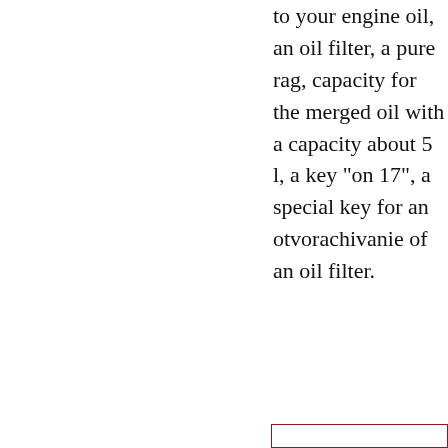to your engine oil, an oil filter, a pure rag, capacity for the merged oil with a capacity about 5 l, a key "on 17", a special key for an otvorachivanie of an oil filter.
[Figure (other): Partially visible boxed element at bottom right corner of page]